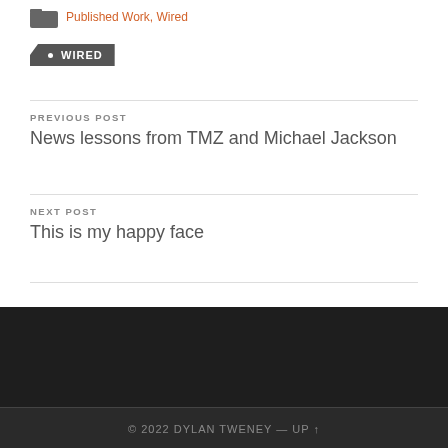Published Work, Wired
• WIRED
PREVIOUS POST
News lessons from TMZ and Michael Jackson
NEXT POST
This is my happy face
© 2022 DYLAN TWENEY — UP ↑